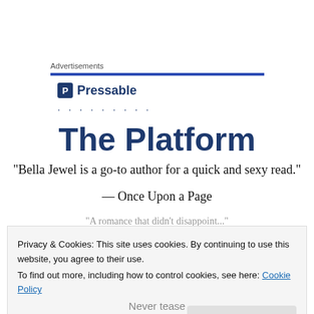Advertisements
[Figure (logo): Pressable logo with blue shield icon and text 'Pressable' followed by dotted line]
The Platform
“Bella Jewel is a go-to author for a quick and sexy read.”
— Once Upon a Page
Privacy & Cookies: This site uses cookies. By continuing to use this website, you agree to their use. To find out more, including how to control cookies, see here: Cookie Policy
Close and accept
Never tease